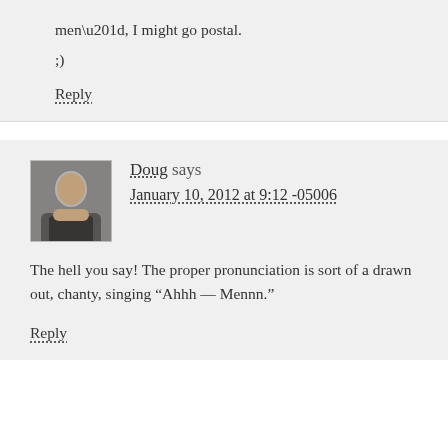men”, I might go postal.
;)
Reply
Doug says
January 10, 2012 at 9:12 -05006
The hell you say! The proper pronunciation is sort of a drawn out, chanty, singing “Ahhh — Mennn.”
Reply